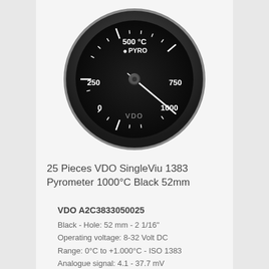[Figure (illustration): VDO SingleViu 1383 Pyrometer gauge, circular black face with white markings showing scale 0, 250, 500°C, 750, 1000. Brand logos VDO and PYRO visible. Chrome bezel. Needle pointing to 0.]
25 Pieces VDO SingleViu 1383 Pyrometer 1000°C Black 52mm
VDO A2C3833050025
Black - Hole: 52 mm - 2 1/16"
Operating voltage: 8-32 Volt DC
Range: 0°C to +1.000°C - ISO 1383
Analogue signal: 4.1 - 37.7 mV
CANBus input: 65270 - 173 - 0x30
Connection cable order separately